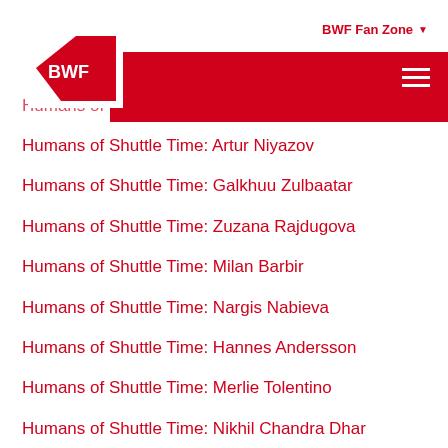BWF Fan Zone
Humans of Shuttle Time: Luis Fernando Montilla
Humans of Shuttle Time: Artur Niyazov
Humans of Shuttle Time: Galkhuu Zulbaatar
Humans of Shuttle Time: Zuzana Rajdugova
Humans of Shuttle Time: Milan Barbir
Humans of Shuttle Time: Nargis Nabieva
Humans of Shuttle Time: Hannes Andersson
Humans of Shuttle Time: Merlie Tolentino
Humans of Shuttle Time: Nikhil Chandra Dhar